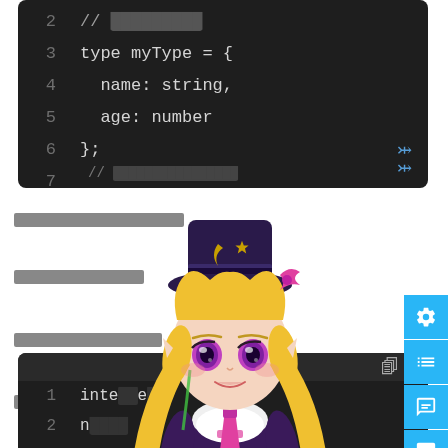[Figure (screenshot): Code editor screenshot showing TypeScript type definition. Lines 2-9 visible. Line 2: // [redacted comment], Line 3: type myType = {, Line 4: name: string,, Line 5: age: number, Line 6: };, Line 7: empty, Line 8: // [redacted comment], Line 9: // [redacted text]. A down-chevron icon appears at bottom right.]
[Figure (illustration): Anime character: blonde girl with long twin tails, wearing a dark purple steampunk/gothic outfit with bat wings, top hat with crescent moon and star, pink bow, pink necktie, white frilled shirt. Purple/magenta eyes with pointed ears. Smiling expression.]
[redacted Japanese text lines - multiple lines of censored/blurred text visible in white area]
[Figure (screenshot): Bottom code editor snippet, partially visible. Shows lines 1 and 2 with code: Line 1: inte..e..., Line 2: n... Toolbar icons visible at top right.]